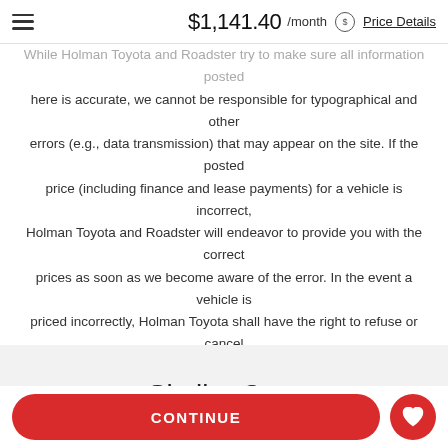$1,141.40 /month Price Details
While Holman Toyota and Roadster try to make sure all information posted here is accurate, we cannot be responsible for typographical and other errors (e.g., data transmission) that may appear on the site. If the posted price (including finance and lease payments) for a vehicle is incorrect, Holman Toyota and Roadster will endeavor to provide you with the correct prices as soon as we become aware of the error. In the event a vehicle is priced incorrectly, Holman Toyota shall have the right to refuse or cancel any orders placed for the vehicle presented with the incorrect price. In addition, vehicle prices are subject to change and all vehicles are subject to prior sale and may not be available when you are ready to purchase.
Similar Cars